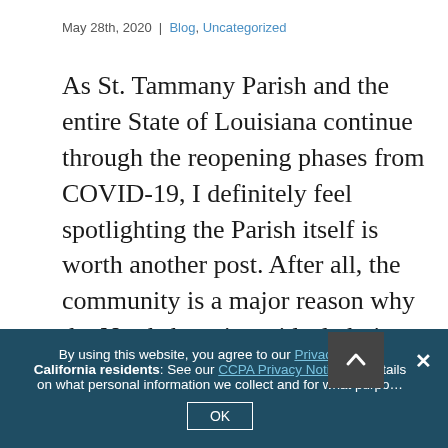May 28th, 2020 | Blog, Uncategorized
As St. Tammany Parish and the entire State of Louisiana continue through the reopening phases from COVID-19, I definitely feel spotlighting the Parish itself is worth another post. After all, the community is a major reason why the Northshore is an ideal choice to call home. Our Schools Naturally, our seniors’ graduation ceremonies looked a little different this year. That didn’t stop several of the drive-through celebrations, such as the one for Pearl River High School. If you have yet to see the 20-second commencement speech challenge, check out
By using this website, you agree to our Privacy Policy. California residents: See our CCPA Privacy Notice for details on what personal information we collect and for what purpo…
OK